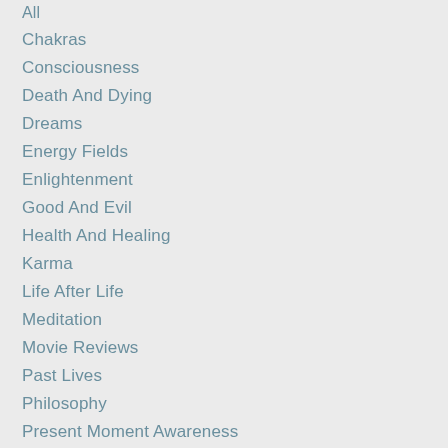All
Chakras
Consciousness
Death And Dying
Dreams
Energy Fields
Enlightenment
Good And Evil
Health And Healing
Karma
Life After Life
Meditation
Movie Reviews
Past Lives
Philosophy
Present Moment Awareness
Purpose In Life
Religions
Soulmates
Spirit Guides And…